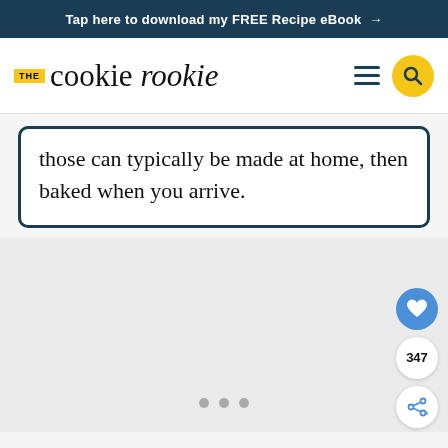Tap here to download my FREE Recipe eBook →
[Figure (logo): The Cookie Rookie logo with yellow THE badge, large serif text 'cookie rookie', hamburger menu icon, and yellow circular search button]
those can typically be made at home, then baked when you arrive.
[Figure (screenshot): Lower gray content area with floating action buttons: blue heart button, count badge showing 347, and white share button with plus icon. Three loading dots centered at bottom.]